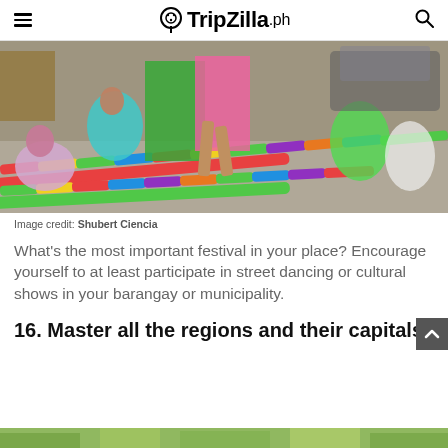TripZilla.ph
[Figure (photo): People performing a traditional Filipino bamboo dance (tinikling) on a street, with colorful painted bamboo poles on the ground. Participants are jumping between the poles while others crouch at the sides holding them.]
Image credit: Shubert Ciencia
What's the most important festival in your place? Encourage yourself to at least participate in street dancing or cultural shows in your barangay or municipality.
16. Master all the regions and their capitals
[Figure (photo): Partial bottom strip showing a green outdoor scene, cropped at the bottom of the page.]